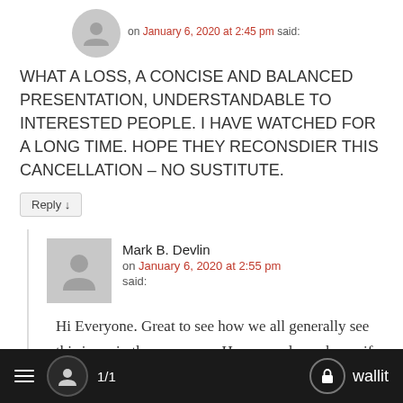on January 6, 2020 at 2:45 pm said:
WHAT A LOSS, A CONCISE AND BALANCED PRESENTATION, UNDERSTANDABLE TO INTERESTED PEOPLE. I HAVE WATCHED FOR A LONG TIME. HOPE THEY RECONSDIER THIS CANCELLATION – NO SUSTITUTE.
Reply ↓
Mark B. Devlin
on January 6, 2020 at 2:55 pm said:
Hi Everyone. Great to see how we all generally see this issue in the same way. However, do we know if this is an effective
≡  1/1  wallit